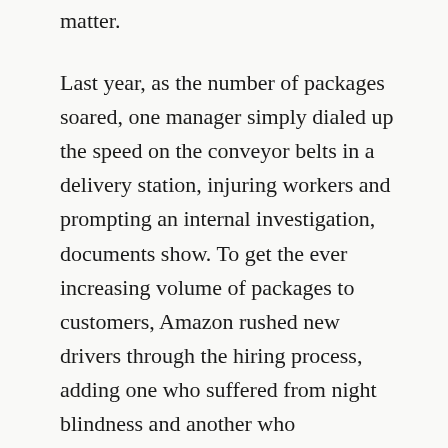matter.
Last year, as the number of packages soared, one manager simply dialed up the speed on the conveyor belts in a delivery station, injuring workers and prompting an internal investigation, documents show. To get the ever increasing volume of packages to customers, Amazon rushed new drivers through the hiring process, adding one who suffered from night blindness and another who acknowledged medicinal use of marijuana, company documents and interviews show.
This year, Amazon has even more riding on the logistics empire it has built, according to